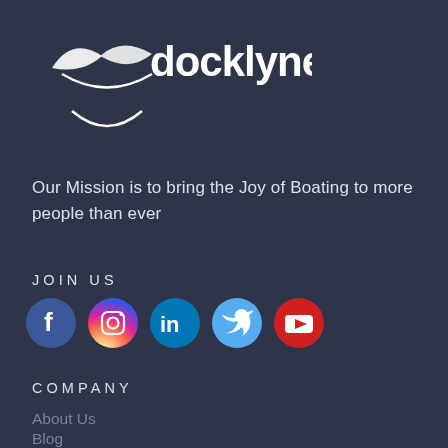[Figure (logo): Docklyne logo: stylized boat/wave icon in white with 'docklyne' text and a smile-like arc beneath]
Our Mission is to bring the Joy of Boating to more people than ever
JOIN US
[Figure (infographic): Row of 5 social media icons: Facebook (blue circle, f), Instagram (gradient circle, camera icon), LinkedIn (blue circle, in), Twitter (light blue circle, bird), YouTube (red circle, play button)]
COMPANY
About Us
Blog
FAQ